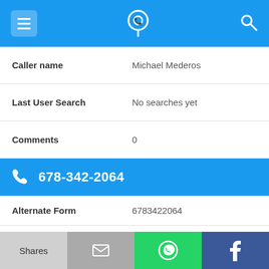[Figure (screenshot): App top bar with hamburger menu, phone-location pin icon, and search icon on blue background]
Caller name	Michael Mederos
Last User Search	No searches yet
Comments	0
678-342-2064
Alternate Form	6783422064
Caller name	Carleton Candis
Last User Search	No searches yet
[Figure (screenshot): Bottom action bar with Shares (light grey), email icon (grey), WhatsApp icon (green), Facebook icon (dark blue)]